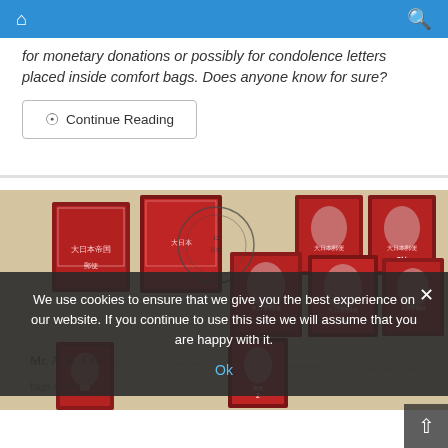Home / Search
for monetary donations or possibly for condolence letters placed inside comfort bags. Does anyone know for sure?
Continue Reading
[Figure (photo): Photograph of an envelope covered with multiple red Japanese postage stamps featuring a portrait, with handwritten Japanese script and cursive English text below.]
We use cookies to ensure that we give you the best experience on our website. If you continue to use this site we will assume that you are happy with it.
Ok